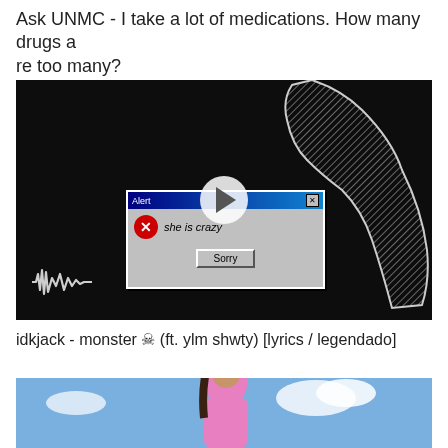Ask UNMC - I take a lot of medications. How many drugs are too many?
[Figure (screenshot): Video thumbnail: dark background with a hatched/crosshatch silhouette figure on right, a Windows-style Alert dialog box in center showing a red X icon and italic text 'she is crazy', with an audio waveform icon in bottom-left and a circular play button overlay.]
idkjack - monster 💀 (ft. ylm shwty) [lyrics / legendado]
[Figure (photo): Video thumbnail: a woman in a pink top posing against a blue sky background with clouds.]